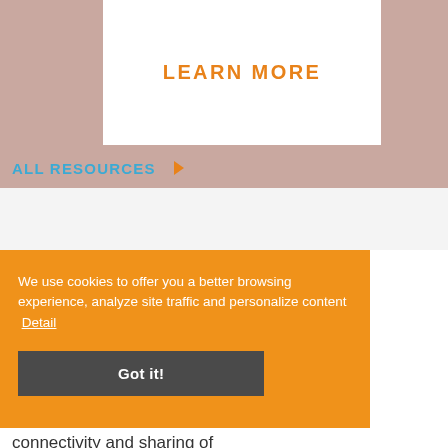LEARN MORE
ALL RESOURCES ▶
We use cookies to offer you a better browsing experience, analyze site traffic and personalize content  Detail
Got it!
connectivity and sharing of